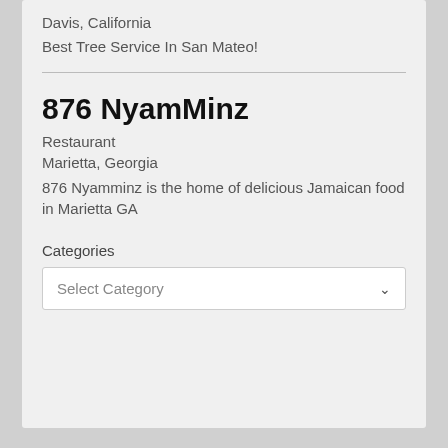Davis, California
Best Tree Service In San Mateo!
876 NyamMinz
Restaurant
Marietta, Georgia
876 Nyamminz is the home of delicious Jamaican food in Marietta GA
Categories
Select Category